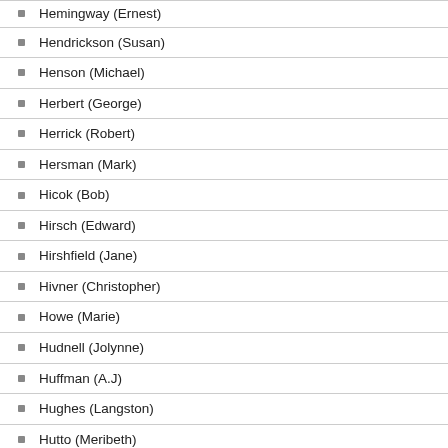Hemingway (Ernest)
Hendrickson (Susan)
Henson (Michael)
Herbert (George)
Herrick (Robert)
Hersman (Mark)
Hicok (Bob)
Hirsch (Edward)
Hirshfield (Jane)
Hivner (Christopher)
Howe (Marie)
Hudnell (Jolynne)
Huffman (A.J)
Hughes (Langston)
Hutto (Meribeth)